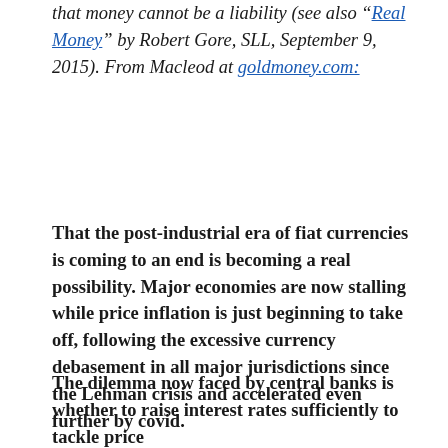that money cannot be a liability (see also “Real Money” by Robert Gore, SLL, September 9, 2015). From Macleod at goldmoney.com:
That the post-industrial era of fiat currencies is coming to an end is becoming a real possibility. Major economies are now stalling while price inflation is just beginning to take off, following the excessive currency debasement in all major jurisdictions since the Lehman crisis and accelerated even further by covid.
The dilemma now faced by central banks is whether to raise interest rates sufficiently to tackle price